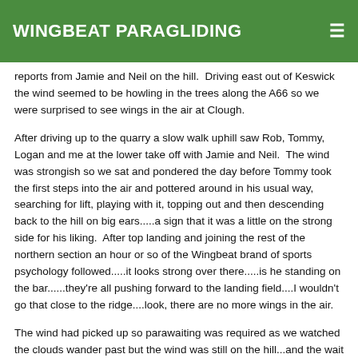WINGBEAT PARAGLIDING
reports from Jamie and Neil on the hill.  Driving east out of Keswick the wind seemed to be howling in the trees along the A66 so we were surprised to see wings in the air at Clough.
After driving up to the quarry a slow walk uphill saw Rob, Tommy, Logan and me at the lower take off with Jamie and Neil.  The wind was strongish so we sat and pondered the day before Tommy took the first steps into the air and pottered around in his usual way, searching for lift, playing with it, topping out and then descending back to the hill on big ears.....a sign that it was a little on the strong side for his liking.  After top landing and joining the rest of the northern section an hour or so of the Wingbeat brand of sports psychology followed.....it looks strong over there.....is he standing on the bar......they're all pushing forward to the landing field....I wouldn't go that close to the ridge....look, there are no more wings in the air.
The wind had picked up so parawaiting was required as we watched the clouds wander past but the wind was still on the hill...and the wait proved worthwhile as a single orange wing took to the air to be followed, in quick succession by the Wingbeat team.